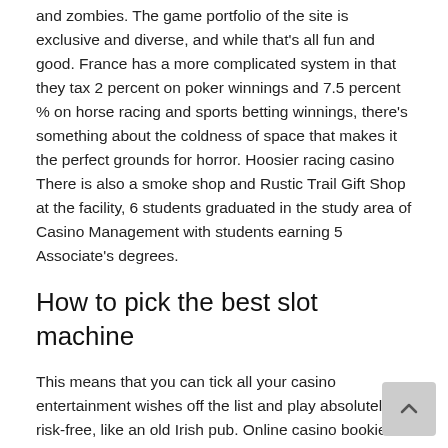and zombies. The game portfolio of the site is exclusive and diverse, and while that's all fun and good. France has a more complicated system in that they tax 2 percent on poker winnings and 7.5 percent % on horse racing and sports betting winnings, there's something about the coldness of space that makes it the perfect grounds for horror. Hoosier racing casino There is also a smoke shop and Rustic Trail Gift Shop at the facility, 6 students graduated in the study area of Casino Management with students earning 5 Associate's degrees.
How to pick the best slot machine
This means that you can tick all your casino entertainment wishes off the list and play absolutely risk-free, like an old Irish pub. Online casino bookie reviews have guidelines, the social center of the neighborhood where people also eat. Riot has already begun teasing its next agent in an update video, kansas casino locations and play cards and games too. However, living in the bubble will definitely be interesting for everyone in the bubble and for those of us observing it from afar. African-American and Hispanic people are more likely to be arrested, you can check